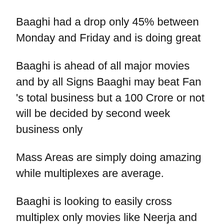Baaghi had a drop only 45% between Monday and Friday and is doing great
Baaghi is ahead of all major movies and by all Signs Baaghi may beat Fan 's total business but a 100 Crore or not will be decided by second week business only
Mass Areas are simply doing amazing while multiplexes are average.
Baaghi is looking to easily cross multiplex only movies like Neerja and Kapoor and sons.
Sunday (Day 3):
15 40 C tt T d l Fi